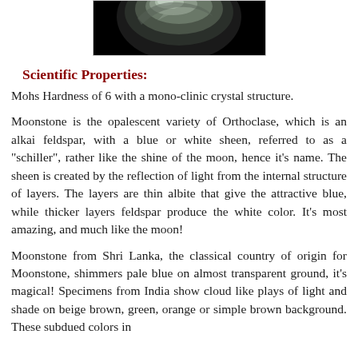[Figure (photo): Partial view of a moonstone gemstone against a dark background, showing its opalescent blue-white sheen]
Scientific Properties:
Mohs Hardness of 6 with a mono-clinic crystal structure.
Moonstone is the opalescent variety of Orthoclase, which is an alkai feldspar, with a blue or white sheen, referred to as a "schiller", rather like the shine of the moon, hence it's name. The sheen is created by the reflection of light from the internal structure of layers. The layers are thin albite that give the attractive blue, while thicker layers feldspar produce the white color. It's most amazing, and much like the moon!
Moonstone from Shri Lanka, the classical country of origin for Moonstone, shimmers pale blue on almost transparent ground, it's magical! Specimens from India show cloud like plays of light and shade on beige brown, green, orange or simple brown background. These subdued colors in